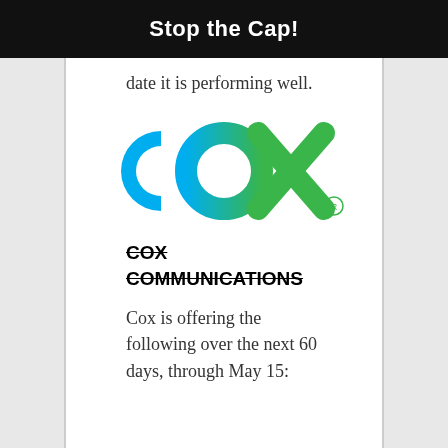Stop the Cap!
date it is performing well.
[Figure (logo): Cox Communications logo with blue 'c', blue-to-green 'o', and green 'x' with registered trademark symbol]
COX COMMUNICATIONS
Cox is offering the following over the next 60 days, through May 15: